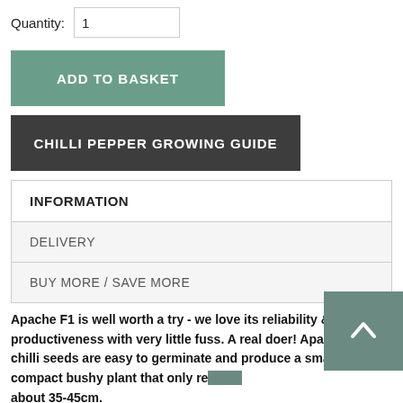Quantity: 1
ADD TO BASKET
CHILLI PEPPER GROWING GUIDE
| INFORMATION |
| DELIVERY |
| BUY MORE / SAVE MORE |
Apache F1 is well worth a try - we love its reliability & productiveness with very little fuss. A real doer! Apache F1 chilli seeds are easy to germinate and produce a small compact bushy plant that only reaches about 35-45cm.
Apache F1 is a Capsicum annuum which is a species of the plant genus Capsicum native to southern North America, the Caribbean, and northern